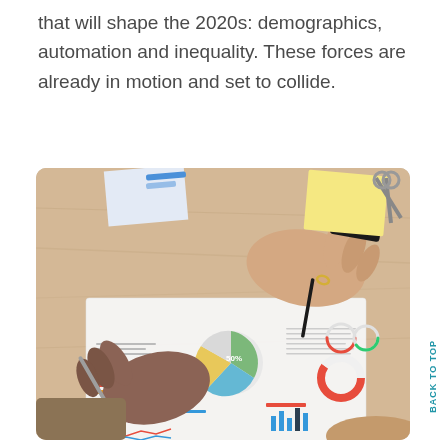that will shape the 2020s: demographics, automation and inequality. These forces are already in motion and set to collide.
[Figure (photo): Two people's hands over a desk reviewing business analytics report papers with charts including pie charts, bar charts, and line graphs. One person holds a pen pointing at the charts.]